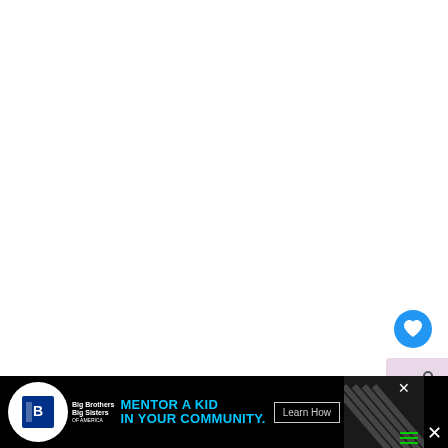[Figure (screenshot): White blank area taking up the upper portion of the page, with a circular blue heart/like button and a share button on the right side]
[Figure (screenshot): What's Next panel showing 'Can You Reboil Eggs...' with a thumbnail of eggs in a pot]
Using a flour sifter can change your cooking and baking for the better. Many
[Figure (screenshot): Advertisement banner: Big Brothers Big Sisters logo, 'MENTOR A KID IN YOUR COMMUNITY.' in cyan text, Learn How button, diagonal stripe pattern, and close X button]